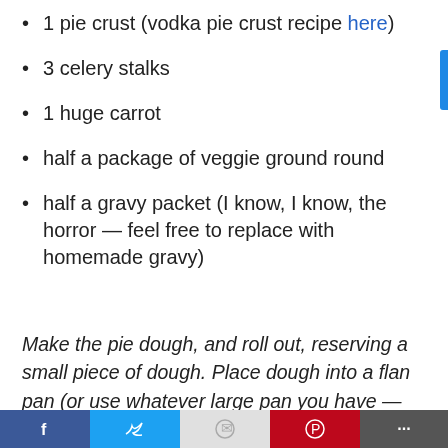1 pie crust (vodka pie crust recipe here)
3 celery stalks
1 huge carrot
half a package of veggie ground round
half a gravy packet (I know, I know, the horror — feel free to replace with homemade gravy)
Make the pie dough, and roll out, reserving a small piece of dough. Place dough into a flan pan (or use whatever large pan you have — you could even use a cookie tray if you had to), leaving the dough edges sort of over hanging the pan. Roll out reserved
[Figure (other): Social media sharing bar with Facebook, Twitter, Pinterest, and other share buttons]